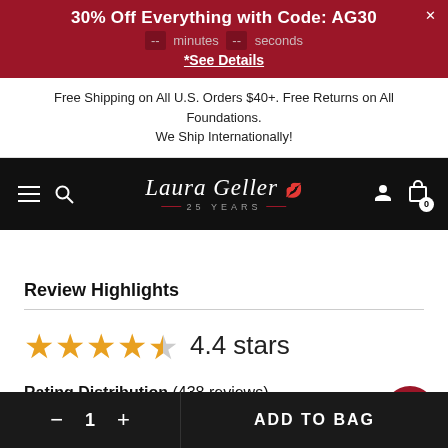30% Off Everything with Code: AG30
[timer] minutes [timer] seconds
*See Details
Free Shipping on All U.S. Orders $40+. Free Returns on All Foundations. We Ship Internationally!
[Figure (logo): Laura Geller brand logo with script text 'Laura Geller' and '25 YEARS' below with decorative lines, on black navigation bar with hamburger menu, search, user and cart icons]
Review Highlights
4.4 stars
Rating Distribution (438 reviews)